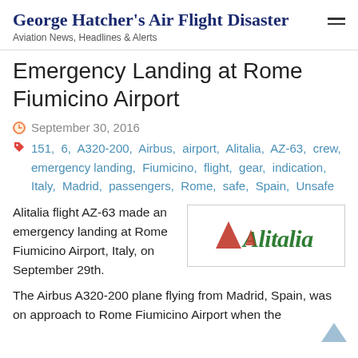George Hatcher's Air Flight Disaster
Aviation News, Headlines & Alerts
Emergency Landing at Rome Fiumicino Airport
September 30, 2016
151, 6, A320-200, Airbus, airport, Alitalia, AZ-63, crew, emergency landing, Fiumicino, flight, gear, indication, Italy, Madrid, passengers, Rome, safe, Spain, Unsafe
Alitalia flight AZ-63 made an emergency landing at Rome Fiumicino Airport, Italy, on September 29th.
[Figure (logo): Alitalia airline logo — green italic text 'Alitalia' with a red triangular accent, on white background with a light border]
The Airbus A320-200 plane flying from Madrid, Spain, was on approach to Rome Fiumicino Airport when the